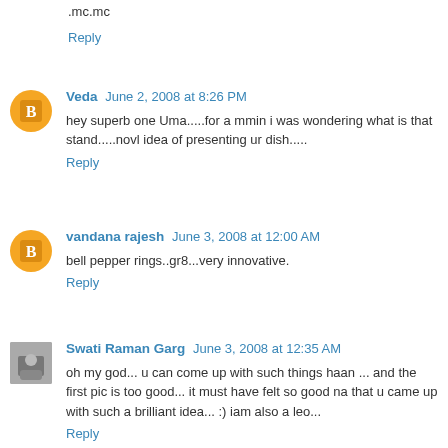.mc.mc
Reply
Veda  June 2, 2008 at 8:26 PM
hey superb one Uma.....for a mmin i was wondering what is that stand.....novl idea of presenting ur dish.....
Reply
vandana rajesh  June 3, 2008 at 12:00 AM
bell pepper rings..gr8...very innovative.
Reply
Swati Raman Garg  June 3, 2008 at 12:35 AM
oh my god... u can come up with such things haan ... and the first pic is too good... it must have felt so good na that u came up with such a brilliant idea... :) iam also a leo...
Reply